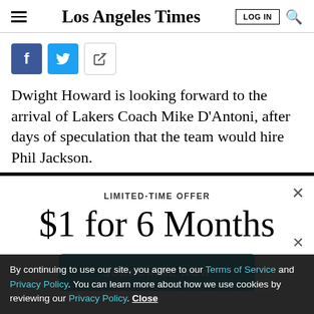Los Angeles Times
[Figure (screenshot): Social share buttons: Facebook (blue), Twitter (blue), and a share/forward icon button]
Dwight Howard is looking forward to the arrival of Lakers Coach Mike D'Antoni, after days of speculation that the team would hire Phil Jackson.
LIMITED-TIME OFFER
$1 for 6 Months
SUBSCRIBE NOW
By continuing to use our site, you agree to our Terms of Service and Privacy Policy. You can learn more about how we use cookies by reviewing our Privacy Policy. Close